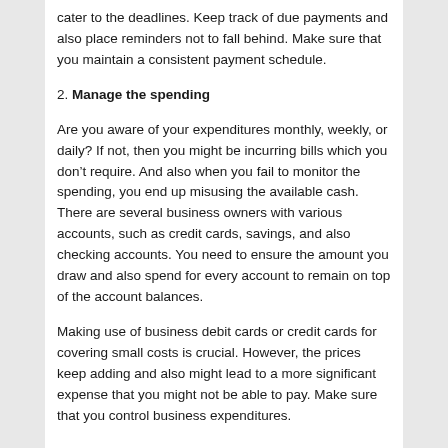cater to the deadlines. Keep track of due payments and also place reminders not to fall behind. Make sure that you maintain a consistent payment schedule.
2. Manage the spending
Are you aware of your expenditures monthly, weekly, or daily? If not, then you might be incurring bills which you don’t require. And also when you fail to monitor the spending, you end up misusing the available cash. There are several business owners with various accounts, such as credit cards, savings, and also checking accounts. You need to ensure the amount you draw and also spend for every account to remain on top of the account balances.
Making use of business debit cards or credit cards for covering small costs is crucial. However, the prices keep adding and also might lead to a more significant expense that you might not be able to pay. Make sure that you control business expenditures.